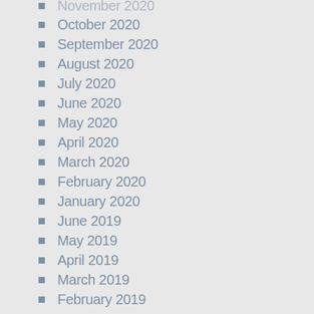November 2020
October 2020
September 2020
August 2020
July 2020
June 2020
May 2020
April 2020
March 2020
February 2020
January 2020
June 2019
May 2019
April 2019
March 2019
February 2019
January 2019